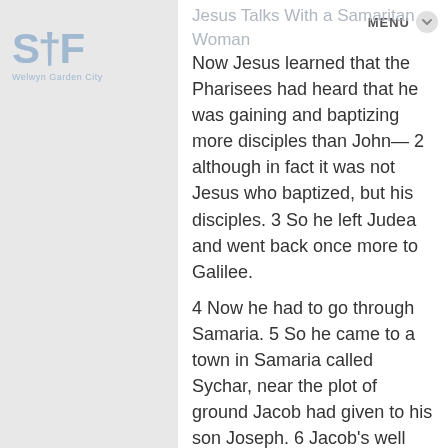Jesus Talks With a Samaritan Woman
MENU
Now Jesus learned that the Pharisees had heard that he was gaining and baptizing more disciples than John— 2 although in fact it was not Jesus who baptized, but his disciples. 3 So he left Judea and went back once more to Galilee.
4 Now he had to go through Samaria. 5 So he came to a town in Samaria called Sychar, near the plot of ground Jacob had given to his son Joseph. 6 Jacob's well was there, and Jesus, tired as he was from the journey, sat down by the well. It was about noon 7 When a Samaritan woman came to draw water, Jesus said to her, "Will you